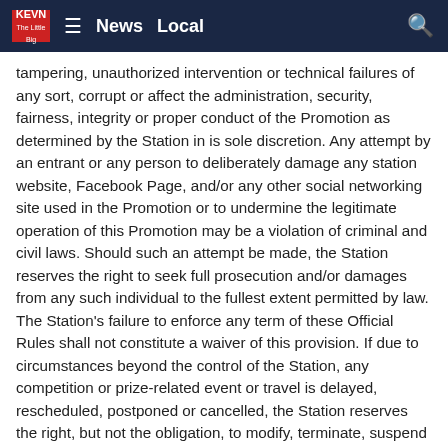KEVN News Local
tampering, unauthorized intervention or technical failures of any sort, corrupt or affect the administration, security, fairness, integrity or proper conduct of the Promotion as determined by the Station in is sole discretion. Any attempt by an entrant or any person to deliberately damage any station website, Facebook Page, and/or any other social networking site used in the Promotion or to undermine the legitimate operation of this Promotion may be a violation of criminal and civil laws. Should such an attempt be made, the Station reserves the right to seek full prosecution and/or damages from any such individual to the fullest extent permitted by law. The Station's failure to enforce any term of these Official Rules shall not constitute a waiver of this provision. If due to circumstances beyond the control of the Station, any competition or prize-related event or travel is delayed, rescheduled, postponed or cancelled, the Station reserves the right, but not the obligation, to modify, terminate, suspend or cancel the Promotion and shall not be required to award a substitute prize.